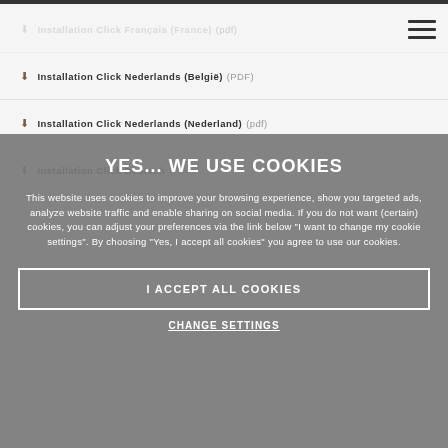Installation Click Français (France) (pdf)
Installation Click Nederlands (België) (PDF)
Installation Click Nederlands (Nederland) (pdf)
Installation Click Deutsch (PDF)
YES... WE USE COOKIES
This website uses cookies to improve your browsing experience, show you targeted ads, analyze website traffic and enable sharing on social media. If you do not want (certain) cookies, you can adjust your preferences via the link below "I want to change my cookie settings". By choosing "Yes, I accept all cookies" you agree to use our cookies.
I ACCEPT ALL COOKIES
CHANGE SETTINGS